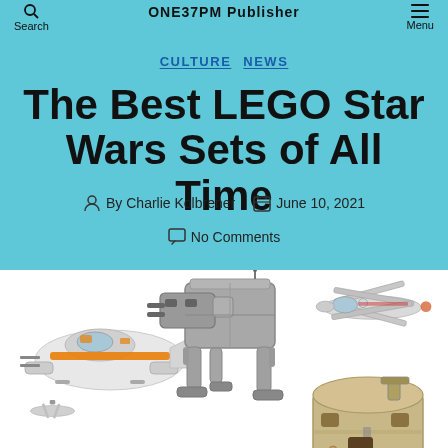Search  ONE37pm Publisher  Menu
CULTURE  NEWS
The Best LEGO Star Wars Sets of All Time
By Charlie Kolbrener  June 10, 2021  No Comments
[Figure (photo): Collection of LEGO Star Wars sets including a Snowspeeder, AT-AT Walker, X-Wing fighters, and a Mos Eisley Cantina set arranged on a white background]